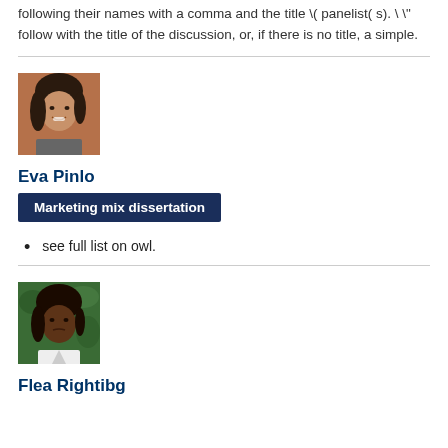following their names with a comma and the title \ ( panelist( s). \ \ " follow with the title of the discussion, or, if there is no title, a simple.
[Figure (photo): Headshot of Eva Pinlo, a woman with dark hair, smiling, against a brick background.]
Eva Pinlo
Marketing mix dissertation
see full list on owl.
[Figure (photo): Headshot of Flea Rightibg, a woman with dark hair, against a green leafy background.]
Flea Rightibg